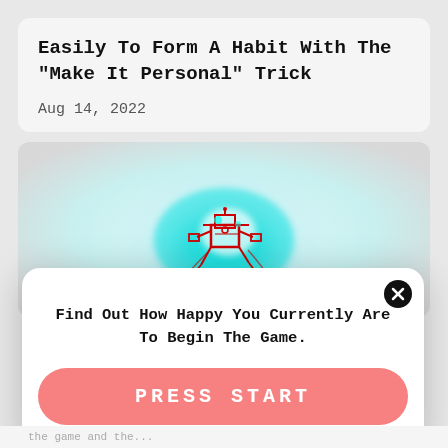Easily To Form A Habit With The "Make It Personal" Trick
Aug 14, 2022
[Figure (illustration): A blurry photo of a human brain with cyan/teal glowing light and a red mechanical robot or drone figure in the center]
Find Out How Happy You Currently Are To Begin The Game.
PRESS START
the game and the...